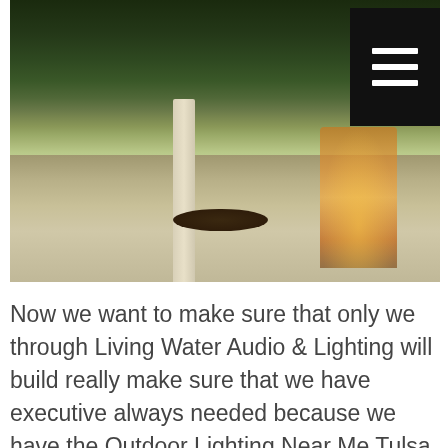[Figure (photo): Outdoor patio area at dusk with dining table, chairs, stone fireplace, lush greenery and warm lighting]
Now we want to make sure that only we through Living Water Audio & Lighting will build really make sure that we have executive always needed because we have the Outdoor Lighting Near Me Tulsa. We are truly going to be exactly what it takes, and that we are really going be able to really make sure that these dedicated results are going to be exact what you have always wanted and what you have never been able to be disappointed with as well. We want to make sure that you are going to be able to help you see for a fact that only we through Living Water Audio & Lighting will have these systems in place to really make sure that